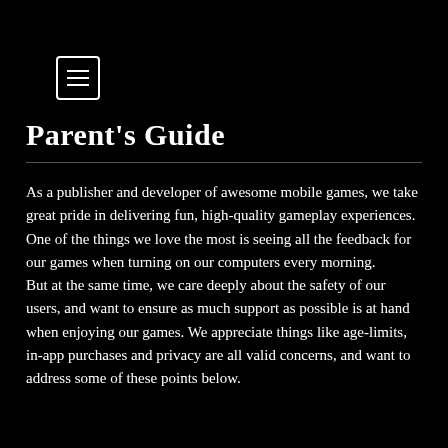☰ (menu icon)
Parent's Guide
As a publisher and developer of awesome mobile games, we take great pride in delivering fun, high-quality gameplay experiences. One of the things we love the most is seeing all the feedback for our games when turning on our computers every morning. But at the same time, we care deeply about the safety of our users, and want to ensure as much support as possible is at hand when enjoying our games. We appreciate things like age-limits, in-app purchases and privacy are all valid concerns, and want to address some of these points below.